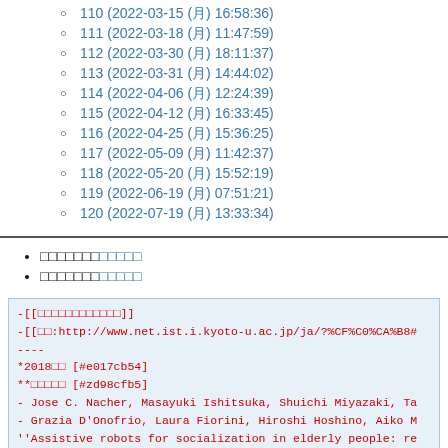110 (2022-03-15 (月) 16:58:36)
111 (2022-03-18 (月) 11:47:59)
112 (2022-03-30 (月) 18:11:37)
113 (2022-03-31 (月) 14:44:02)
114 (2022-04-06 (月) 12:24:39)
115 (2022-04-12 (月) 16:33:45)
116 (2022-04-25 (月) 15:36:25)
117 (2022-05-09 (月) 11:42:37)
118 (2022-05-20 (月) 15:52:19)
119 (2022-06-19 (月) 07:51:21)
120 (2022-07-19 (月) 13:33:34)
□□□□□□□□□□□□
□□□□□□□□□□□□
-[[□□□□□□□□□□□□]]
-[[□□:http://www.net.ist.i.kyoto-u.ac.jp/ja/?%CF%C0%CA%B8#...]]
----
*2018□□ [#e017cb54]
**□□□□□ [#zd98cfb5]
- Jose C. Nacher, Masayuki Ishitsuka, Shuichi Miyazaki, Ta...
- Grazia D'Onofrio, Laura Fiorini, Hiroshi Hoshino, Aiko M...
''Assistive robots for socialization in elderly people: re...
[[Aging Clin Exp Res (2018):https://doi.org/10.1007/s40520...
- □□ □□□, □□ □□, □□ □□, □□ □□,
''□□IDの□□□□□□□□□□□□□□□□□□□□□□□□''.